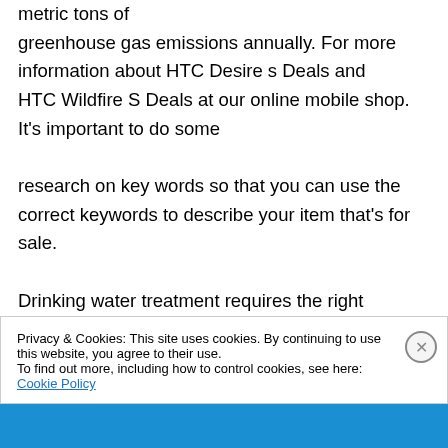metric tons of greenhouse gas emissions annually. For more information about HTC Desire s Deals and HTC Wildfire S Deals at our online mobile shop. It's important to do some research on key words so that you can use the correct keywords to describe your item that's for sale. Drinking water treatment requires the right technologies and applications that include both household-scale point-of-use or
Privacy & Cookies: This site uses cookies. By continuing to use this website, you agree to their use.
To find out more, including how to control cookies, see here: Cookie Policy